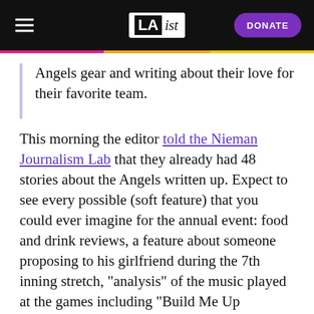LAist — DONATE
Angels gear and writing about their love for their favorite team.
This morning the editor told the Nieman Journalism Lab that they already had 48 stories about the Angels written up. Expect to see every possible (soft feature) that you could ever imagine for the annual event: food and drink reviews, a feature about someone proposing to his girlfriend during the 7th inning stretch, "analysis" of the music played at the games including "Build Me Up Buttercup" and profiles of the manager, the